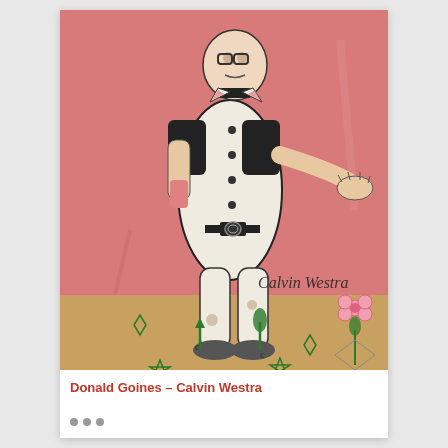[Figure (illustration): Folk art illustration signed 'Calvin Westra' showing a stylized figure resembling a clown or doll wearing a white outfit with buttons and a collar, set against a pink background. The figure stands on a tan/brown ground with green plant/flower motifs including stars, arrows, and a pink flower on the right. The figure has simplified facial features, short dark sleeves, and outstretched arms.]
Donald Goines – Calvin Westra